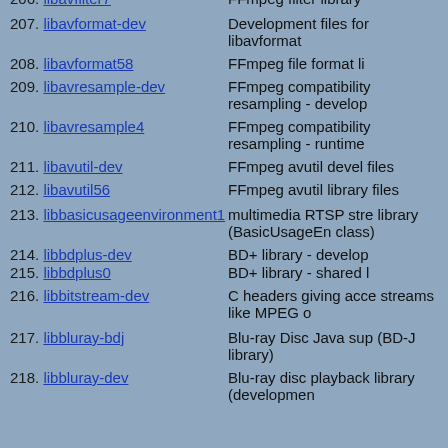206. libavfilter7 - FFmpeg filter library
207. libavformat-dev - Development files for libavformat
208. libavformat58 - FFmpeg file format li
209. libavresample-dev - FFmpeg compatibility resampling - develop
210. libavresample4 - FFmpeg compatibility resampling - runtime
211. libavutil-dev - FFmpeg avutil devel files
212. libavutil56 - FFmpeg avutil library files
213. libbasicusageenvironment1 - multimedia RTSP streaming library (BasicUsageEn class)
214. libbdplus-dev - BD+ library - develop
215. libbdplus0 - BD+ library - shared l
216. libbitstream-dev - C headers giving access streams like MPEG o
217. libbluray-bdj - Blu-ray Disc Java sup (BD-J library)
218. libbluray-dev - Blu-ray disc playback library (development